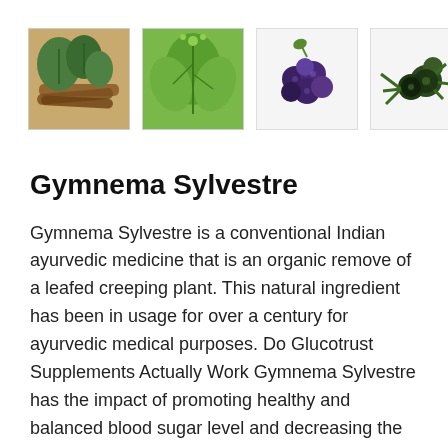[Figure (photo): Row of four herb/plant photos: cinnamon sticks with green leaves, green leafy plant (basil/tulsi), dark berries cluster, juniper berries with spiky green leaves]
Gymnema Sylvestre
Gymnema Sylvestre is a conventional Indian ayurvedic medicine that is an organic remove of a leafed creeping plant. This natural ingredient has been in usage for over a century for ayurvedic medical purposes. Do Glucotrust Supplements Actually Work Gymnema Sylvestre has the impact of promoting healthy and balanced blood sugar level and decreasing the desires for fast food. Advertising healthy and balanced blood sugar is